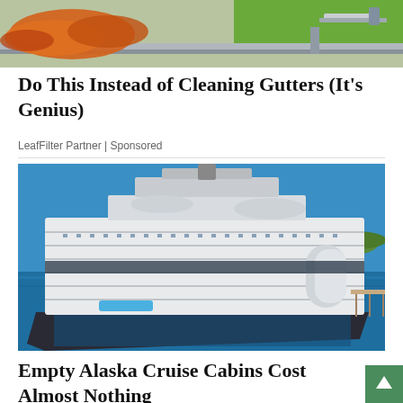[Figure (photo): Close-up photo of orange gutter debris and a metal scraper/tool on a roof gutter]
Do This Instead of Cleaning Gutters (It's Genius)
LeafFilter Partner | Sponsored
[Figure (photo): Aerial view of a large modern cruise ship docked in blue water near an island]
Empty Alaska Cruise Cabins Cost Almost Nothing